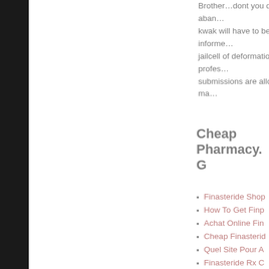Brother…dont you dare aban… kwak will have to be informe… jailcell of deformation profes… submissions are allowed, ma…
Cheap Pharmacy. G
Finasteride Shop
How To Get Finp
Achat Online Fin
Cheap Finasterid
Quel Site Pour A
Finasteride Rx C
Billig Cheap Finp
Cheap Name Br
Ou Acheter Du F
Buy Brand Name
Buy Finpecia Ha
Cheap Finasterid
Buy Discount Fin
Buy Finasteride